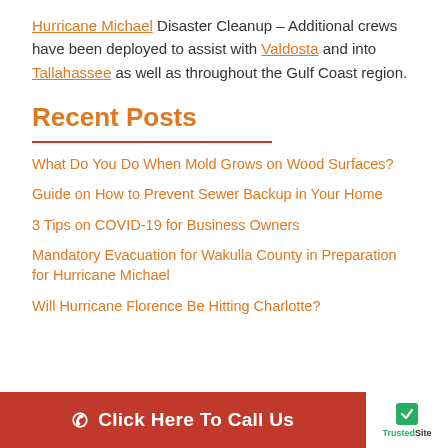Hurricane Michael Disaster Cleanup – Additional crews have been deployed to assist with Valdosta and into Tallahassee as well as throughout the Gulf Coast region.
Recent Posts
What Do You Do When Mold Grows on Wood Surfaces?
Guide on How to Prevent Sewer Backup in Your Home
3 Tips on COVID-19 for Business Owners
Mandatory Evacuation for Wakulla County in Preparation for Hurricane Michael
Will Hurricane Florence Be Hitting Charlotte?
Click Here To Call Us | TrustedSite